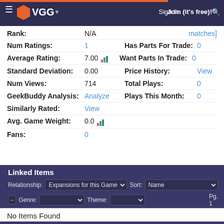VGG — Sign In   Join (it's free)!
Rank: N/A   matches]
Num Ratings: 1   Has Parts For Trade: 0
Average Rating: 7.00   Want Parts In Trade: 0
Standard Deviation: 0.00   Price History: View
Num Views: 714   Total Plays: 0
GeekBuddy Analysis: Analyze   Plays This Month: 0
Similarly Rated: View
Avg. Game Weight: 0.0
Fans: 0
Linked Items
Relationship: Expansions for this Game   Sort: Name
Genre:   Theme:   Pg. 1
Mode:
Media:
No Items Found
Web Links